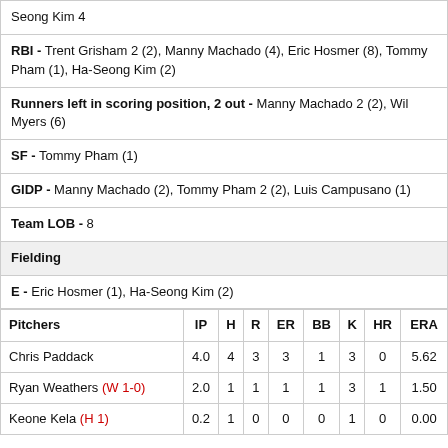Seong Kim 4
RBI - Trent Grisham 2 (2), Manny Machado (4), Eric Hosmer (8), Tommy Pham (1), Ha-Seong Kim (2)
Runners left in scoring position, 2 out - Manny Machado 2 (2), Wil Myers (6)
SF - Tommy Pham (1)
GIDP - Manny Machado (2), Tommy Pham 2 (2), Luis Campusano (1)
Team LOB - 8
Fielding
E - Eric Hosmer (1), Ha-Seong Kim (2)
| Pitchers | IP | H | R | ER | BB | K | HR | ERA |
| --- | --- | --- | --- | --- | --- | --- | --- | --- |
| Chris Paddack | 4.0 | 4 | 3 | 3 | 1 | 3 | 0 | 5.62 |
| Ryan Weathers (W 1-0) | 2.0 | 1 | 1 | 1 | 1 | 3 | 1 | 1.50 |
| Keone Kela (H 1) | 0.2 | 1 | 0 | 0 | 0 | 1 | 0 | 0.00 |